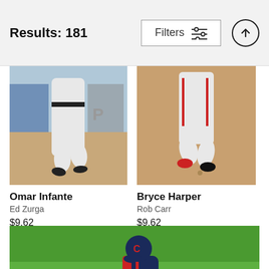Results: 181
[Figure (screenshot): Search results page header with 'Results: 181' on left, 'Filters' button with sliders icon in center, and an up-arrow circle button on right]
[Figure (photo): Baseball player Omar Infante running on field, lower body visible, dirt infield background]
Omar Infante
Ed Zurga
$9.62
[Figure (photo): Baseball player Bryce Harper running on dirt infield, lower body visible]
Bryce Harper
Rob Carr
$9.62
[Figure (photo): Baseball player in navy Cleveland Indians uniform running on dirt infield with green grass in background]